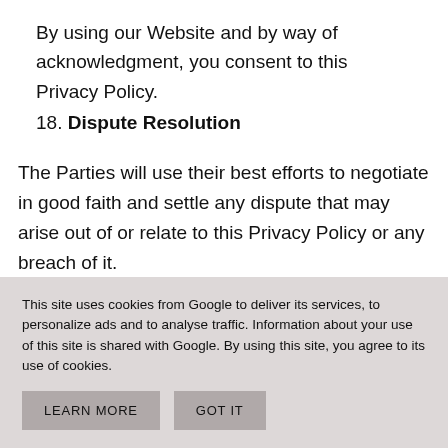By using our Website and by way of acknowledgment, you consent to this Privacy Policy.
18. Dispute Resolution
The Parties will use their best efforts to negotiate in good faith and settle any dispute that may arise out of or relate to this Privacy Policy or any breach of it.
If any such dispute cannot be settled amicably
This site uses cookies from Google to deliver its services, to personalize ads and to analyse traffic. Information about your use of this site is shared with Google. By using this site, you agree to its use of cookies.
LEARN MORE
GOT IT